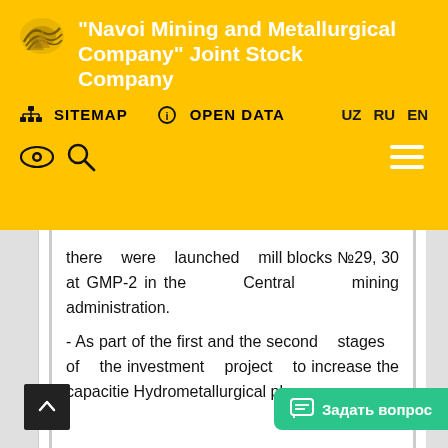"Navoi Mining and Metallurgical Company" Joint Stock Company
there were launched mill blocks №29, 30 at GMP-2 in the Central mining administration.
- As part of the first and the second stages of the investment project to increase the capacities Hydrometallurgical plant